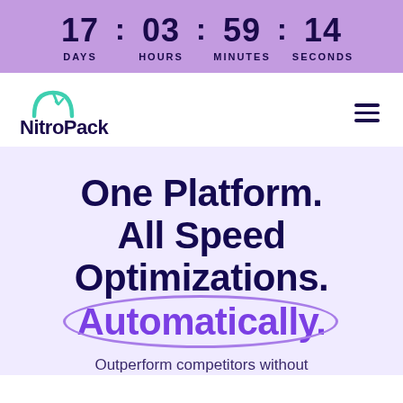17 : 03 : 59 : 14 DAYS HOURS MINUTES SECONDS
[Figure (logo): NitroPack logo with teal speedometer arc icon and dark navy bold text]
One Platform. All Speed Optimizations. Automatically.
Outperform competitors without